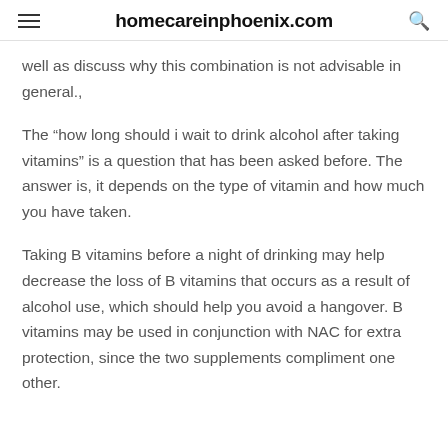homecareinphoenix.com
well as discuss why this combination is not advisable in general.,
The “how long should i wait to drink alcohol after taking vitamins” is a question that has been asked before. The answer is, it depends on the type of vitamin and how much you have taken.
Taking B vitamins before a night of drinking may help decrease the loss of B vitamins that occurs as a result of alcohol use, which should help you avoid a hangover. B vitamins may be used in conjunction with NAC for extra protection, since the two supplements compliment one other.